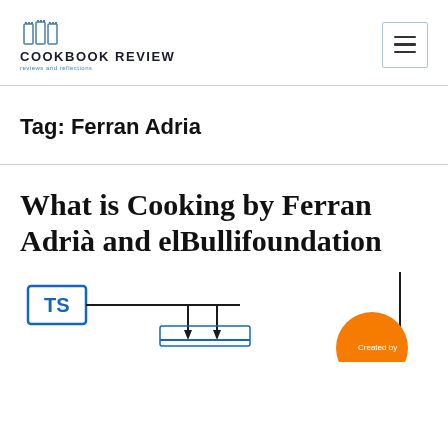[Figure (logo): Cookbook Review logo with book icon and text]
Tag: Ferran Adria
What is Cooking by Ferran Adrià and elBullifoundation
[Figure (illustration): Partial diagram/illustration with blue box labeled TS, arrows, and orange circle with 'Created by' text]